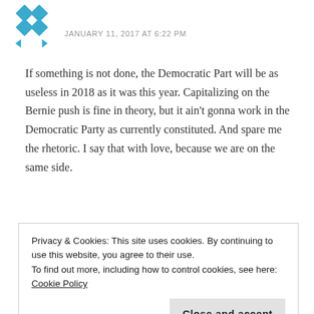[Figure (other): User avatar icon — teal/green diamond pattern with four diamonds arranged in a 2x2 grid, with small arrow indicators at bottom-left and bottom-right]
JANUARY 11, 2017 AT 6:22 PM
If something is not done, the Democratic Part will be as useless in 2018 as it was this year. Capitalizing on the Bernie push is fine in theory, but it ain't gonna work in the Democratic Party as currently constituted. And spare me the rhetoric. I say that with love, because we are on the same side.
★ Like
Privacy & Cookies: This site uses cookies. By continuing to use this website, you agree to their use.
To find out more, including how to control cookies, see here: Cookie Policy
Close and accept
MoveOn has me, monthly. but I'm heeding your clarion